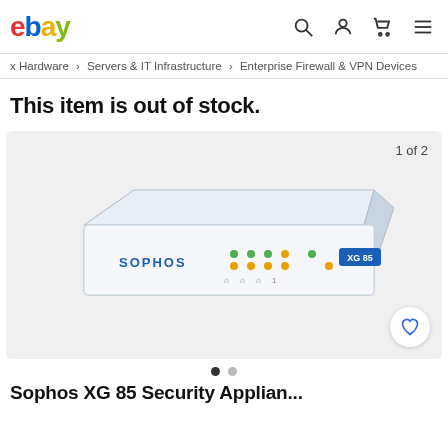ebay — header with search, account, cart, menu icons
x Hardware > Servers & IT Infrastructure > Enterprise Firewall & VPN Devices
This item is out of stock.
[Figure (photo): Sophos XG 85 network security appliance firewall device, white box with LED indicators, label '1 of 2' in top right, heart/wishlist button bottom right]
Sophos XG 85 Security Appliance IT E...